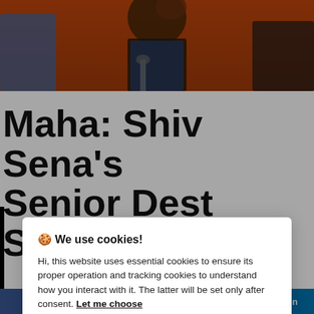[Figure (photo): Photograph of a person in a blue vest speaking at a press conference, orange background, other people visible at sides]
Maha: Shiv Sena's Senior Dest Servi
🍪 We use cookies!
Hi, this website uses essential cookies to ensure its proper operation and tracking cookies to understand how you interact with it. The latter will be set only after consent. Let me choose
Accept all
Reject all
Share on Facebook   Tweet on Twitter   [WhatsApp]   in